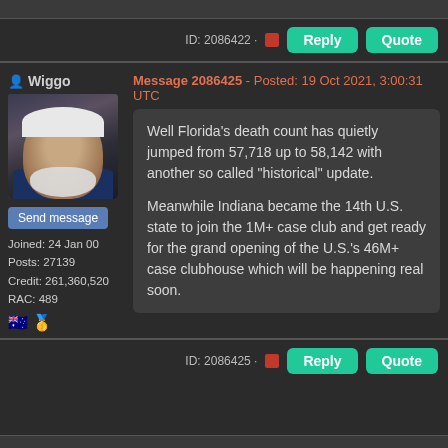ID: 2086422
Wiggo
[Figure (photo): Profile photo of an older man with white hair and beard wearing a dark blue shirt]
Send message
Joined: 24 Jan 00
Posts: 27139
Credit: 261,360,520
RAC: 489
Message 2086425 - Posted: 19 Oct 2021, 3:00:31 UTC
Well Florida's death count has quietly jumped from 57,718 up to 58,142 with another so called "historical" update.

Meanwhile Indiana became the 14th U.S. state to join the 1M+ case club and get ready for the grand opening of the U.S.'s 46M+ case clubhouse which will be happening real soon.
ID: 2086425